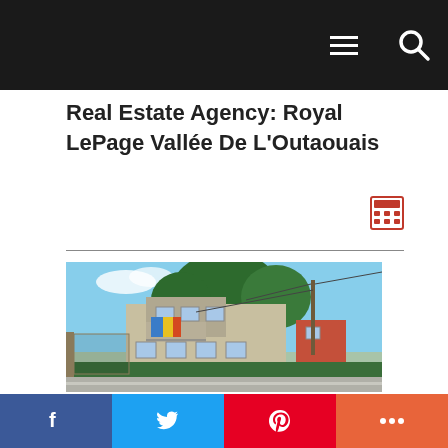Navigation bar with hamburger menu and search icon
Real Estate Agency: Royal LePage Vallee De L'Outaouais
[Figure (other): Calculator icon (red)]
[Figure (photo): Exterior photo of a two-storey apartment/residential building with beige stucco finish, balcony with flags, surrounded by trees and hedges, utility pole with wires, blue sky, street in foreground]
Social share bar: Facebook, Twitter, Pinterest, More